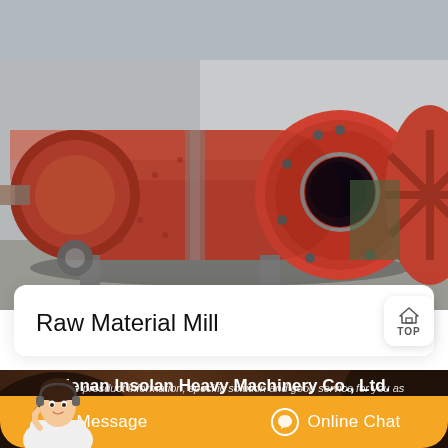[Figure (photo): Industrial red ball mill / raw material mill machinery photographed in a factory or industrial yard. Large red cylindrical drum with an opening visible on the front face, with fan/impeller visible on the right side. Background shows industrial building.]
Raw Material Mill
[Figure (photo): Dark industrial background with partial view of large cylindrical machinery, brownish-dark background, used as backdrop for contact/footer section.]
Henan Insolan Heavy Machinery Co., Ltd.
If you are interested in our company or products, welcome to visit our
provide prosduct information, specific solution and good service for you as
[Figure (photo): Customer service representative / chat agent woman wearing headset, sitting, used as chat widget mascot in bottom left corner.]
Message
Online Chat